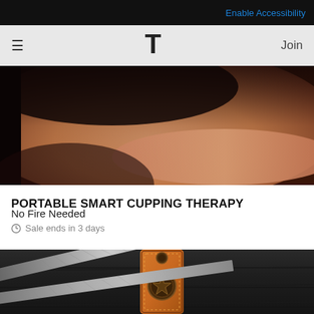Enable Accessibility
≡  T  Join
[Figure (photo): Woman lying down with eyes closed, resting her face on her arms, warm skin tones, appears to be receiving a treatment or resting]
PORTABLE SMART CUPPING THERAPY
No Fire Needed
⊙ Sale ends in 3 days
[Figure (photo): Damascus steel knife with patterned blade resting on a brown leather sheath with star medallion, on dark wood background]